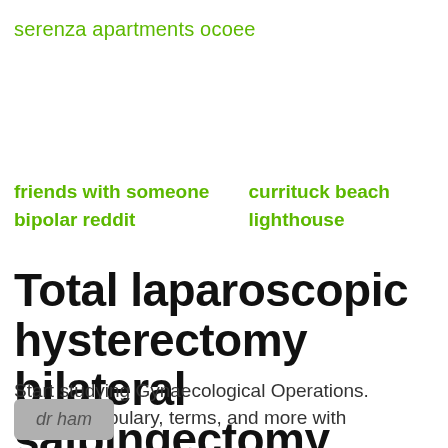serenza apartments ocoee
friends with someone bipolar reddit
currituck beach lighthouse
Total laparoscopic hysterectomy bilateral salpingectomy cystoscopy
Start studying Gynaecological Operations. Learn vocabulary, terms, and more with
dr ham